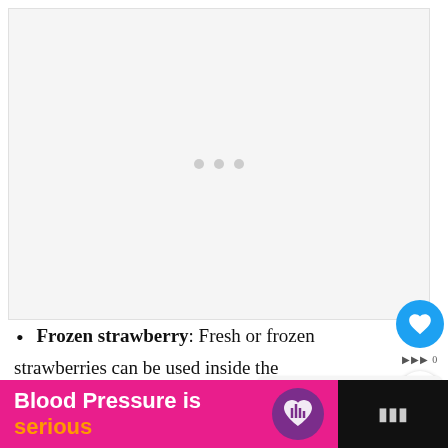[Figure (other): Embedded video player area with loading dots indicator, white/light gray background]
Frozen strawberry: Fresh or frozen strawberries can be used inside the Using frozen fruits will eliminate the need to
[Figure (other): WHAT'S NEXT arrow callout box with thumbnail image of blueberry lemon drink, labeled 'Blueberry Lemon...']
[Figure (other): Advertisement banner: 'Blood Pressure is serious' with heart icon on pink/black background]